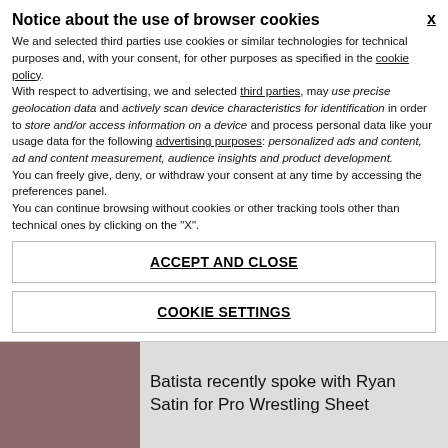Notice about the use of browser cookies
We and selected third parties use cookies or similar technologies for technical purposes and, with your consent, for other purposes as specified in the cookie policy.
With respect to advertising, we and selected third parties, may use precise geolocation data and actively scan device characteristics for identification in order to store and/or access information on a device and process personal data like your usage data for the following advertising purposes: personalized ads and content, ad and content measurement, audience insights and product development.
You can freely give, deny, or withdraw your consent at any time by accessing the preferences panel.
You can continue browsing without cookies or other tracking tools other than technical ones by clicking on the "X".
ACCEPT AND CLOSE
COOKIE SETTINGS
Batista recently spoke with Ryan Satin for Pro Wrestling Sheet